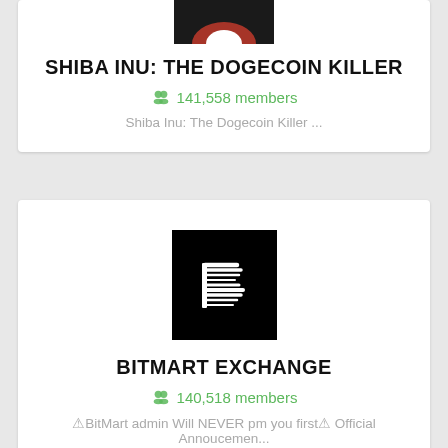[Figure (logo): Shiba Inu group logo, partial red/black image cropped at top]
SHIBA INU: THE DOGECOIN KILLER
141,558 members
Shiba Inu: The Dogecoin Killer ...
[Figure (logo): BitMart Exchange logo: black square with stylized white B made of speed lines]
BITMART EXCHANGE
140,518 members
⚠BitMart admin Will NEVER pm you first⚠ Official Annoucemen...